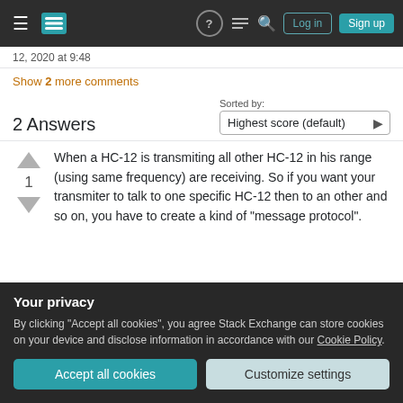Navigation bar with Stack Exchange logo, hamburger menu, help, chat, search, Log in, Sign up buttons
12, 2020 at 9:48
Show 2 more comments
2 Answers
Sorted by: Highest score (default)
When a HC-12 is transmiting all other HC-12 in his range (using same frequency) are receiving. So if you want your transmiter to talk to one specific HC-12 then to an other and so on, you have to create a kind of "message protocol".
Your privacy
By clicking "Accept all cookies", you agree Stack Exchange can store cookies on your device and disclose information in accordance with our Cookie Policy.
Accept all cookies  Customize settings